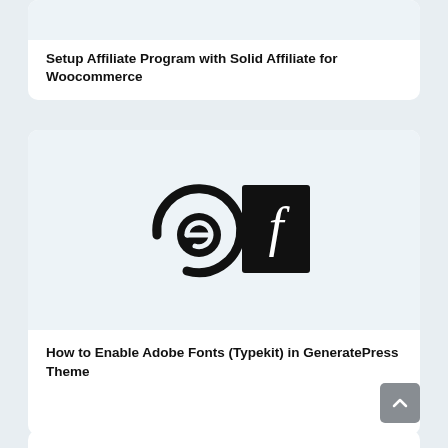[Figure (screenshot): Top card thumbnail area (light blue-grey background)]
Setup Affiliate Program with Solid Affiliate for Woocommerce
[Figure (logo): Easy Digital Downloads logo (circular arrow icon) and Fontello logo (black square with italic f) side by side]
How to Enable Adobe Fonts (Typekit) in GeneratePress Theme